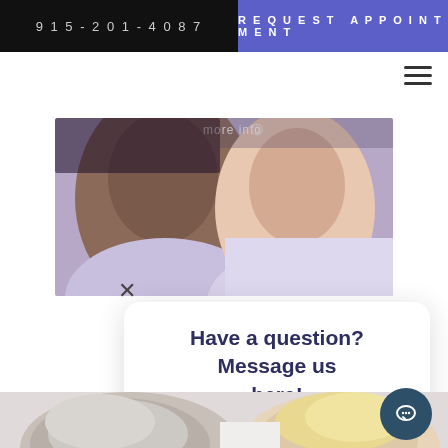915-201-4087
REQUEST APPOINTMENT
[Figure (photo): Close-up of two people's faces/shoulders, one with darker skin and one with lighter skin, cropped near chin and neck area, with partial text 'more info' visible at top]
X
Have a question? Message us here!
[Figure (photo): Bottom portion of page showing tops of heads of two people — a gray-haired man on the left and a blonde woman on the right, looking upward, white background]